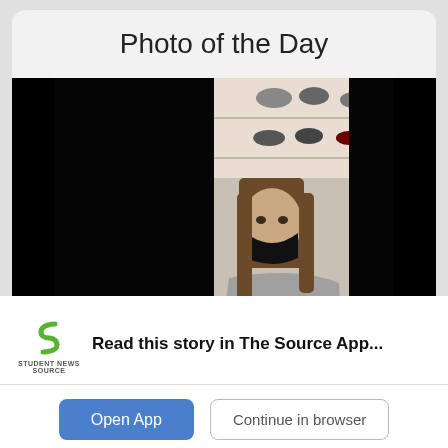Photo of the Day
[Figure (photo): A young woman wearing a black face mask holds a beige cardboard box in what appears to be a shoe store, with shelves of shoes visible in the background. The photo has black bars on the left and right sides (letterboxed).]
Read this story in The Source App...
[Figure (logo): Student News Source logo - green S shape with 'STUDENT NEWS SOURCE' text below]
Open App
Continue in browser